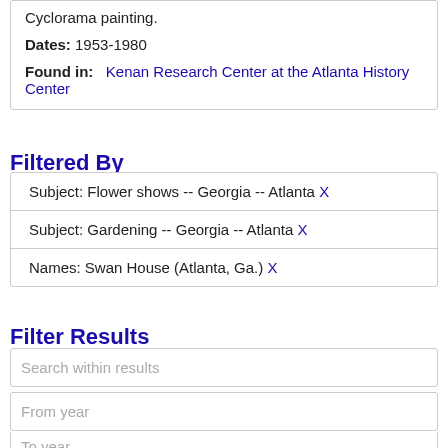Cyclorama painting.
Dates: 1953-1980
Found in: Kenan Research Center at the Atlanta History Center
Filtered By
Subject: Flower shows -- Georgia -- Atlanta X
Subject: Gardening -- Georgia -- Atlanta X
Names: Swan House (Atlanta, Ga.) X
Filter Results
Search within results
From year
To year